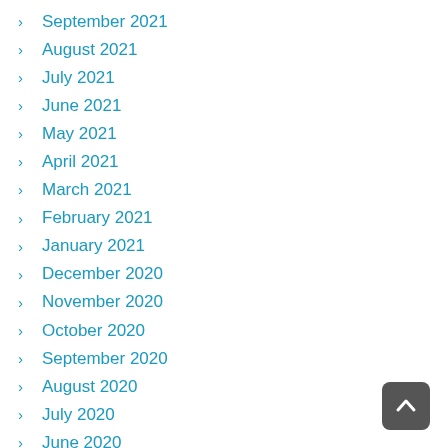September 2021
August 2021
July 2021
June 2021
May 2021
April 2021
March 2021
February 2021
January 2021
December 2020
November 2020
October 2020
September 2020
August 2020
July 2020
June 2020
May 2020
April 2020
March 2020
February 2020
January 2020
December 2019